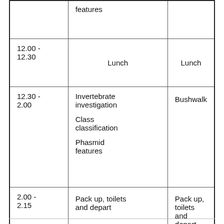| Time | Activity 1 | Activity 2 |
| --- | --- | --- |
|  | features |  |
| 12.00 - 12.30 | Lunch | Lunch |
| 12.30 - 2.00 | Invertebrate investigation

Class classification

Phasmid features | Bushwalk |
| 2.00 - 2.15 | Pack up, toilets and depart | Pack up, toilets and depart |